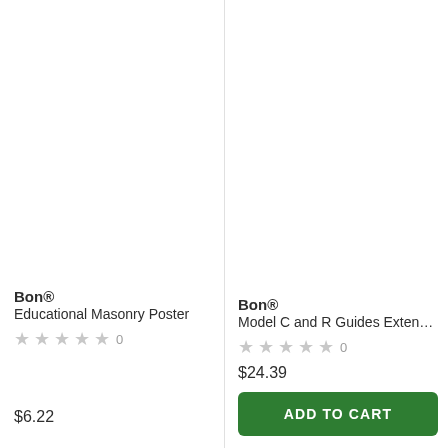Bon®
Educational Masonry Poster
★★★★★ 0
$6.22
Bon®
Model C and R Guides Exten...
★★★★★ 0
$24.39
ADD TO CART